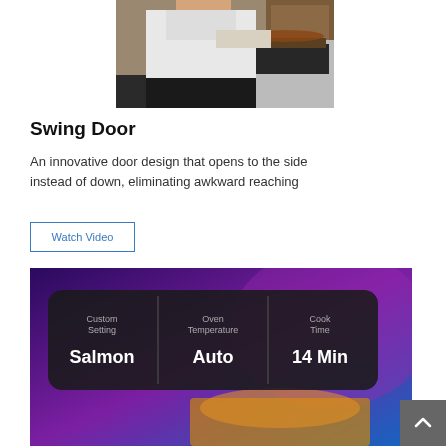[Figure (photo): Person in white apron placing food into a stainless steel oven with swing door in a kitchen setting]
Swing Door
An innovative door design that opens to the side instead of down, eliminating awkward reaching
Watch Video
[Figure (screenshot): Display panel showing Custom Setting: Salmon, Oven Temperature: Auto, Cook Time: 14 Min on a purple/blue background]